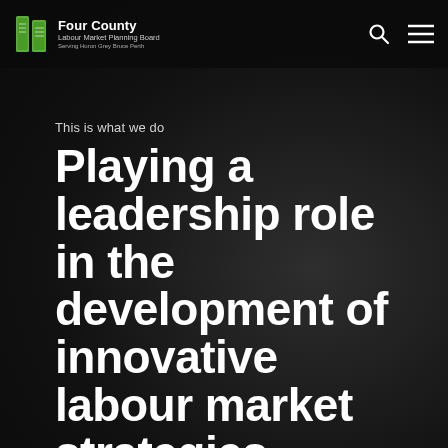Four County Labour Market Planning Board — Serving Huron Grey Bruce Perth
This is what we do
Playing a leadership role in the development of innovative labour market strategies